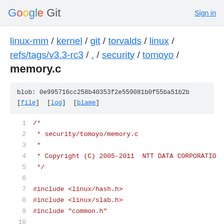Google Git  Sign in
linux-mm / kernel / git / torvalds / linux / refs/tags/v3.3-rc3 / . / security / tomoyo /
memory.c
blob: 0e995716cc258b40353f2e559081b0f55ba51b2b [file] [log] [blame]
1  /*
2   * security/tomoyo/memory.c
3   *
4   * Copyright (C) 2005-2011  NTT DATA CORPORATION
5   */
6  
7  #include <linux/hash.h>
8  #include <linux/slab.h>
9  #include "common.h"